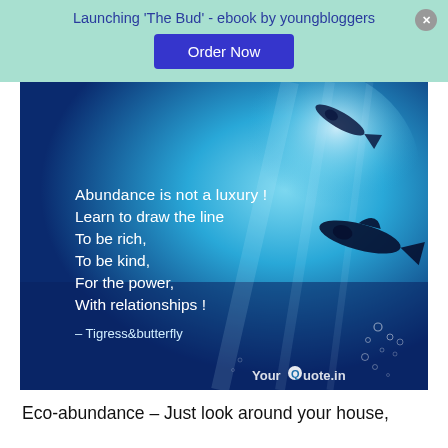Launching 'The Bud' - ebook by youngbloggers
Order Now
[Figure (illustration): Underwater ocean scene with fish silhouettes and light rays, overlaid with a motivational quote: 'Abundance is not a luxury ! Learn to draw the line To be rich, To be kind, For the power, With relationships ! – Tigress&butterfly'. YourQuote.in watermark in bottom right.]
Eco-abundance – Just look around your house,